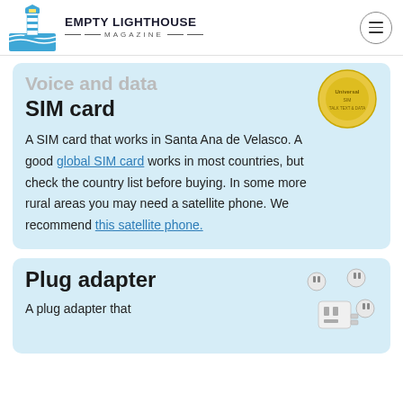EMPTY LIGHTHOUSE MAGAZINE
Voice and data SIM card
SIM card
A SIM card that works in Santa Ana de Velasco. A good global SIM card works in most countries, but check the country list before buying. In some more rural areas you may need a satellite phone. We recommend this satellite phone.
[Figure (photo): Gold universal SIM card product image]
Plug adapter
A plug adapter that
[Figure (photo): Universal plug adapter with multiple international plug types]